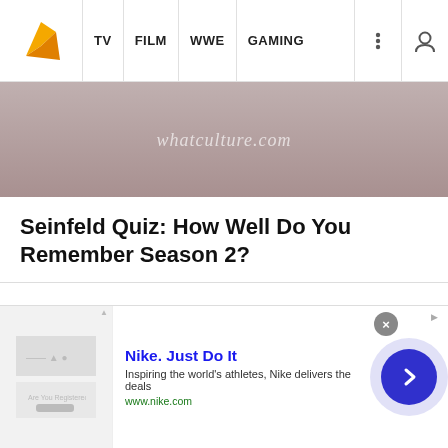TV | FILM | WWE | GAMING
[Figure (screenshot): Top partial image showing whatculture.com watermark over a blurred scene]
Seinfeld Quiz: How Well Do You Remember Season 2?
[Figure (screenshot): Gray placeholder image with WhatCulture logo watermark and whatculture.com text at bottom]
Nike. Just Do It
Inspiring the world's athletes, Nike delivers the deals
www.nike.com